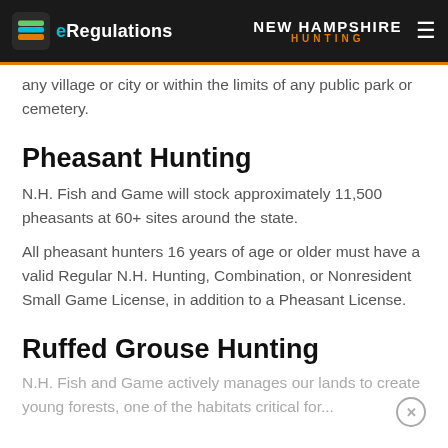eRegulations | NEW HAMPSHIRE HUNTING
any village or city or within the limits of any public park or cemetery.
Pheasant Hunting
N.H. Fish and Game will stock approximately 11,500 pheasants at 60+ sites around the state.
All pheasant hunters 16 years of age or older must have a valid Regular N.H. Hunting, Combination, or Nonresident Small Game License, in addition to a Pheasant License.
Ruffed Grouse Hunting
N.H. Fish and Game actively manages our lands to create young forests, one of the habitats critical for...